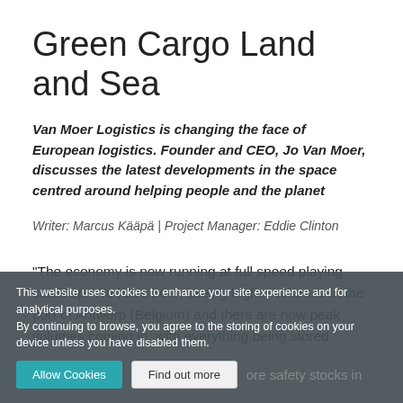Green Cargo Land and Sea
Van Moer Logistics is changing the face of European logistics. Founder and CEO, Jo Van Moer, discusses the latest developments in the space centred around helping people and the planet
Writer: Marcus Kääpä  |  Project Manager: Eddie Clinton
“The economy is now running at full speed playing catch up. We have been seeing higher volumes in the port of Antwerp (Belgium) and there are now peak volumes coming in, with everything being stored
This website uses cookies to enhance your site experience and for analytical purposes.
By continuing to browse, you agree to the storing of cookies on your device unless you have disabled them.
Allow Cookies   Find out more   ore safety stocks in